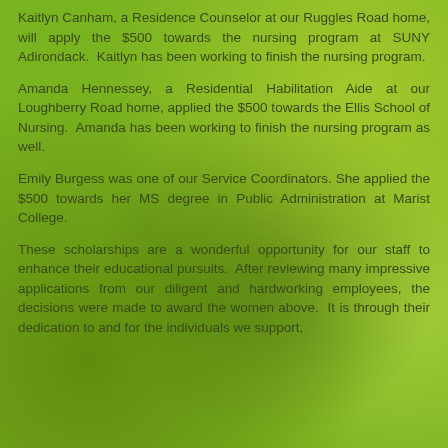Kaitlyn Canham, a Residence Counselor at our Ruggles Road home, will apply the $500 towards the nursing program at SUNY Adirondack. Kaitlyn has been working to finish the nursing program.
Amanda Hennessey, a Residential Habilitation Aide at our Loughberry Road home, applied the $500 towards the Ellis School of Nursing. Amanda has been working to finish the nursing program as well.
Emily Burgess was one of our Service Coordinators. She applied the $500 towards her MS degree in Public Administration at Marist College.
These scholarships are a wonderful opportunity for our staff to enhance their educational pursuits. After reviewing many impressive applications from our diligent and hardworking employees, the decisions were made to award the women above. It is through their dedication to and for the individuals we support,